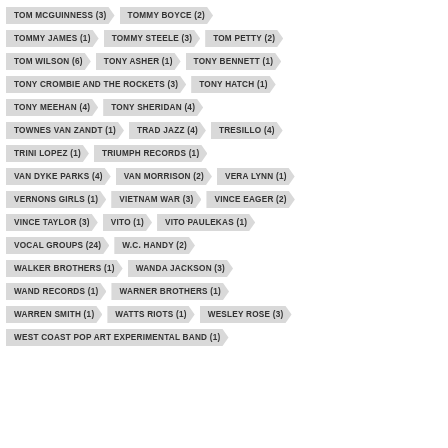TOM MCGUINNESS (3)
TOMMY BOYCE (2)
TOMMY JAMES (1)
TOMMY STEELE (3)
TOM PETTY (2)
TOM WILSON (6)
TONY ASHER (1)
TONY BENNETT (1)
TONY CROMBIE AND THE ROCKETS (3)
TONY HATCH (1)
TONY MEEHAN (4)
TONY SHERIDAN (4)
TOWNES VAN ZANDT (1)
TRAD JAZZ (4)
TRESILLO (4)
TRINI LOPEZ (1)
TRIUMPH RECORDS (1)
VAN DYKE PARKS (4)
VAN MORRISON (2)
VERA LYNN (1)
VERNONS GIRLS (1)
VIETNAM WAR (3)
VINCE EAGER (2)
VINCE TAYLOR (3)
VITO (1)
VITO PAULEKAS (1)
VOCAL GROUPS (24)
W.C. HANDY (2)
WALKER BROTHERS (1)
WANDA JACKSON (3)
WAND RECORDS (1)
WARNER BROTHERS (1)
WARREN SMITH (1)
WATTS RIOTS (1)
WESLEY ROSE (3)
WEST COAST POP ART EXPERIMENTAL BAND (1)